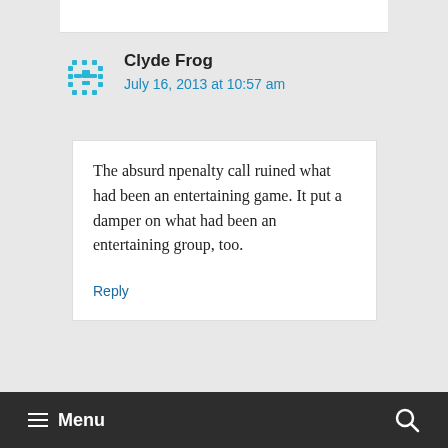Clyde Frog
July 16, 2013 at 10:57 am
The absurd npenalty call ruined what had been an entertaining game. It put a damper on what had been an entertaining group, too.
Reply
≡ Menu